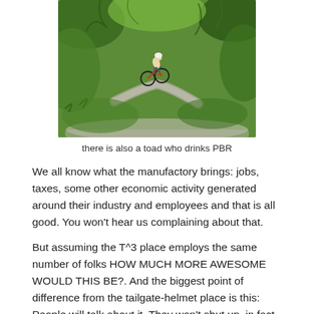[Figure (photo): Miniature cyclist figurine riding a tiny bicycle on a path through lush green moss and ferns, photographed in a shallow bowl terrarium setting]
there is also a toad who drinks PBR
We all know what the manufactory brings: jobs, taxes, some other economic activity generated around their industry and employees and that is all good. You won't hear us complaining about that.
But assuming the T^3 place employs the same number of folks HOW MUCH MORE AWESOME WOULD THIS BE?. And the biggest point of difference from the tailgate-helmet place is this: People will talk about it. They won't shut up, in fact, because it would be amazeballs and folks will share pictures and reviews of it on Instagram and FaceBook followed with pictures of their weeners on SnapChat